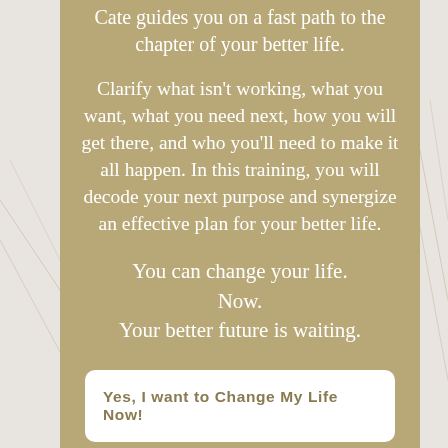Cate guides you on a fast path to the chapter of your better life.
Clarify what isn’t working, what you want, what you need next, how you will get there, and who you’ll need to make it all happen. In this training, you will decode your next purpose and synergize an effective plan for your better life.
You can change your life.
Now.
Your better future is waiting.
Yes, I want to Change My Life Now!